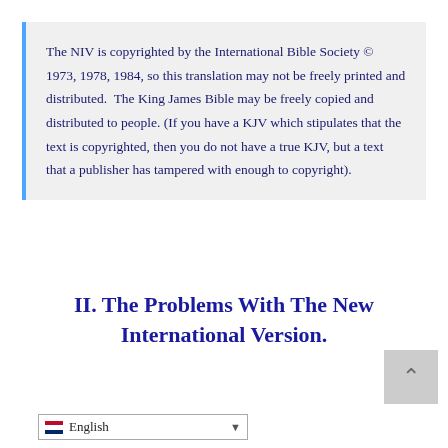The NIV is copyrighted by the International Bible Society © 1973, 1978, 1984, so this translation may not be freely printed and distributed.  The King James Bible may be freely copied and distributed to people. (If you have a KJV which stipulates that the text is copyrighted, then you do not have a true KJV, but a text that a publisher has tampered with enough to copyright).
II. The Problems With The New International Version.